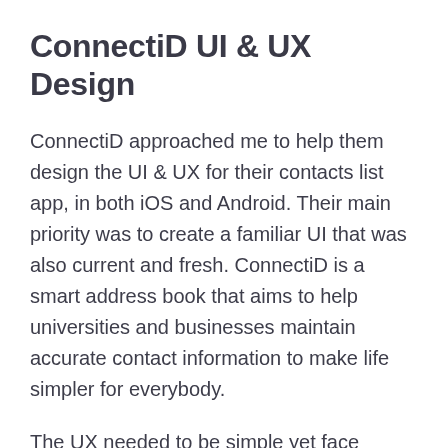ConnectiD UI & UX Design
ConnectiD approached me to help them design the UI & UX for their contacts list app, in both iOS and Android. Their main priority was to create a familiar UI that was also current and fresh. ConnectiD is a smart address book that aims to help universities and businesses maintain accurate contact information to make life simpler for everybody.
The UX needed to be simple yet face complicated challenges such as offering two profiles for the user; business and social.